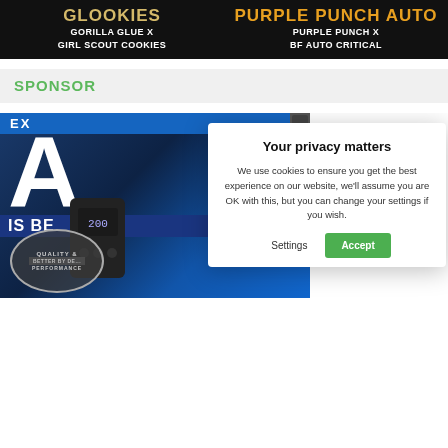[Figure (illustration): Dark banner advertisement with two cannabis strain names: GLOOKIES (Gorilla Glue x Girl Scout Cookies) on the left and PURPLE PUNCH AUTO (Purple Punch x BF Auto Critical) on the right]
SPONSOR
[Figure (photo): Blue dark background advertisement for a cannabis vaporizer device showing 'EX', large letter 'A', 'IS BE' text, a black box device with digital display, a circular badge reading QUALITY & BETTER BY DESIGN & PERFORMANCE]
Your privacy matters
We use cookies to ensure you get the best experience on our website, we'll assume you are OK with this, but you can change your settings if you wish.
Settings
Accept